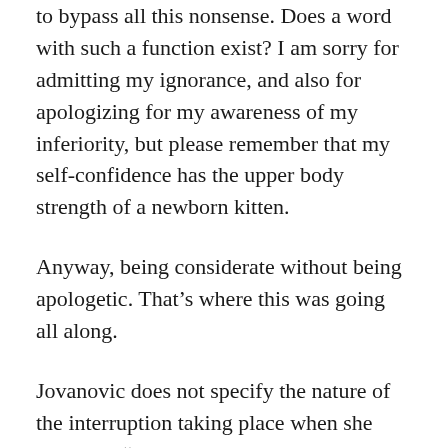to bypass all this nonsense. Does a word with such a function exist? I am sorry for admitting my ignorance, and also for apologizing for my awareness of my inferiority, but please remember that my self-confidence has the upper body strength of a newborn kitten.
Anyway, being considerate without being apologetic. That's where this was going all along.
Jovanovic does not specify the nature of the interruption taking place when she suggests, “I’d like to add” as an alternative to “Sorry to interrupt.”
Is this script meant to happen in the middle of